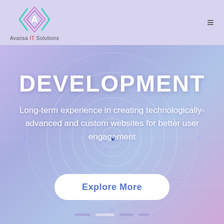[Figure (logo): Avansa IT Solutions logo: geometric diamond/arrow shape with letter A, teal and pink outlines]
Avansa IT Solutions
[Figure (screenshot): Hero section with purple-blue gradient background with fingerprint/circuit board overlay graphics]
DEVELOPMENT
Long-term experience in creating technologically-advanced and custom websites for better user engagement
Explore More